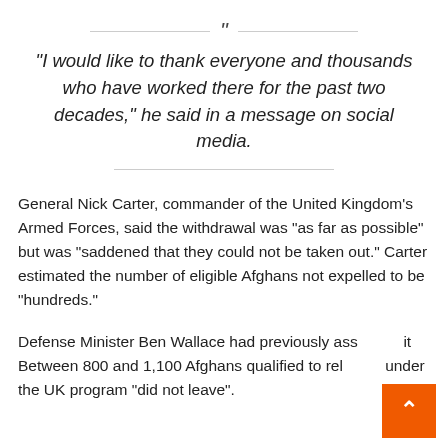“I would like to thank everyone and thousands who have worked there for the past two decades,” he said in a message on social media.
General Nick Carter, commander of the United Kingdom’s Armed Forces, said the withdrawal was “as far as possible” but was “saddened that they could not be taken out.” Carter estimated the number of eligible Afghans not expelled to be “hundreds.”
Defense Minister Ben Wallace had previously assessed it Between 800 and 1,100 Afghans qualified to relocate under the UK program “did not leave”.